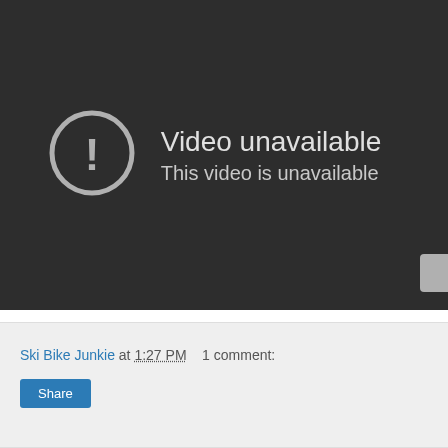[Figure (screenshot): YouTube video player showing 'Video unavailable' error screen with a circular exclamation mark icon on a dark background.]
Ski Bike Junkie at 1:27 PM   1 comment:
Share